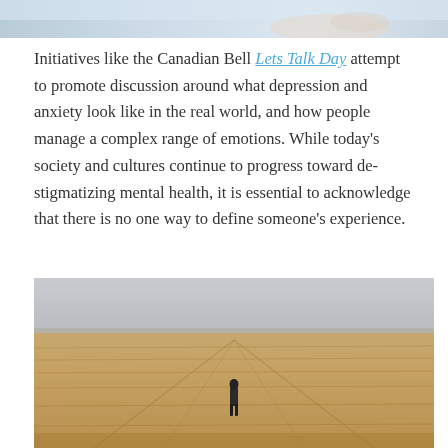[Figure (photo): Partial top image, likely showing a person or hands, cropped at top of page]
Initiatives like the Canadian Bell Lets Talk Day attempt to promote discussion around what depression and anxiety look like in the real world, and how people manage a complex range of emotions. While today's society and cultures continue to progress toward de-stigmatizing mental health, it is essential to acknowledge that there is no one way to define someone's experience.
[Figure (photo): A lone person standing in a vast open field of golden/brown dry grass, viewed from behind, with a wide landscape stretching to the horizon under an overcast sky.]